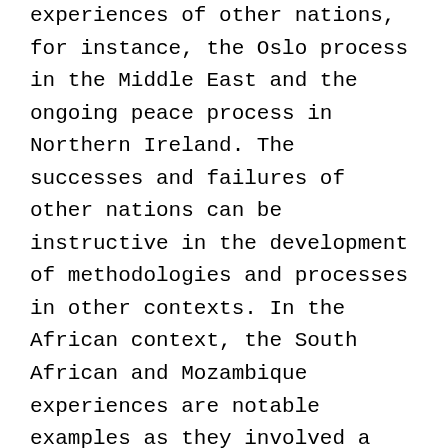experiences of other nations, for instance, the Oslo process in the Middle East and the ongoing peace process in Northern Ireland. The successes and failures of other nations can be instructive in the development of methodologies and processes in other contexts. In the African context, the South African and Mozambique experiences are notable examples as they involved a wide range of actors and approaches, and also illustrate the central importance of continuing post-conflict attention to sustaining a peace settlement and transforming a ceasefire into a durable, democratic order.
To this end, APFO and Project Ploughshares have been supported by the ICAD...